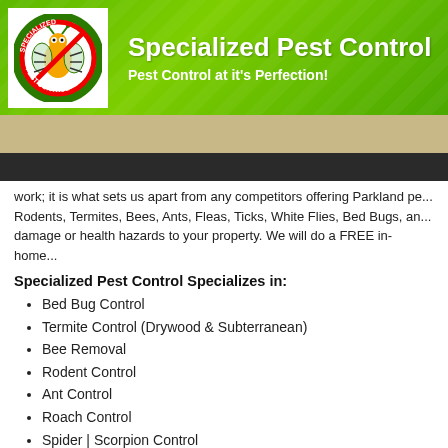[Figure (logo): Specialized Pest Control circular logo with a bug/bee icon and a red no-sign overlay]
Specialized Pest Control
Pest Control at it's Perfection!
work; it is what sets us apart from any competitors offering Parkland pe... Rodents, Termites, Bees, Ants, Fleas, Ticks, White Flies, Bed Bugs, an... damage or health hazards to your property. We will do a FREE in-home...
Specialized Pest Control Specializes in:
Bed Bug Control
Termite Control (Drywood & Subterranean)
Bee Removal
Rodent Control
Ant Control
Roach Control
Spider | Scorpion Control
Silverfish Control
Palm Care
Lawn and Ornamental Care